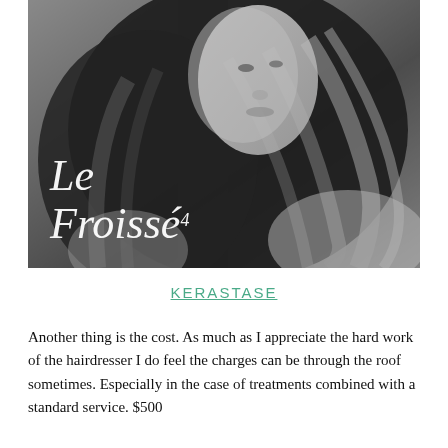[Figure (photo): Black and white fashion photograph of a woman with long flowing wavy hair, with 'Le Froisse' text overlay in white italic serif font]
KERASTASE
Another thing is the cost. As much as I appreciate the hard work of the hairdresser I do feel the charges can be through the roof sometimes. Especially in the case of treatments combined with a standard service. $500